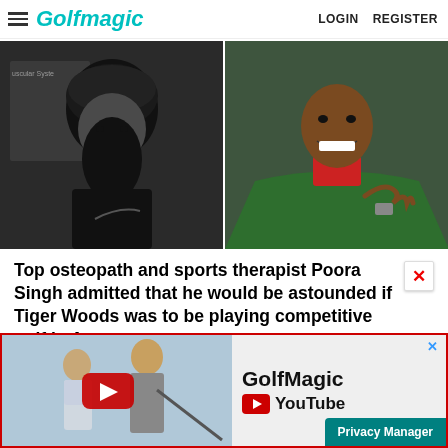GolfMagic  LOGIN  REGISTER
[Figure (photo): Left: black and white photo of Poora Singh, a man wearing a black turban and large beard with a Nike shirt, in front of a muscular/skeletal system poster. Right: color photo of Tiger Woods smiling, wearing a green Masters jacket and red shirt.]
Top osteopath and sports therapist Poora Singh admitted that he would be astounded if Tiger Woods was to be playing competitive golf in A
[Figure (screenshot): Advertisement banner for GolfMagic YouTube channel showing two golfers (Jon Rahm and Dustin Johnson or similar) with a YouTube play button overlay, and 'GolfMagic YouTube' text on the right side. Has a red border and blue X close button. Bottom right shows a teal 'Privacy Manager' button.]